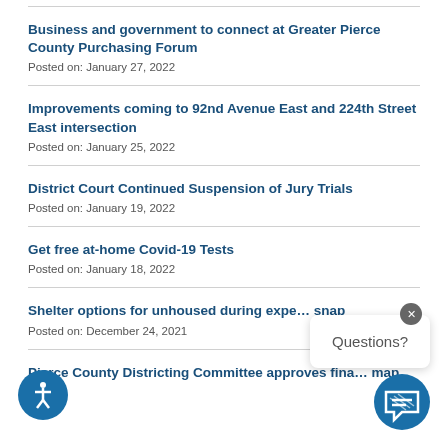Business and government to connect at Greater Pierce County Purchasing Forum
Posted on: January 27, 2022
Improvements coming to 92nd Avenue East and 224th Street East intersection
Posted on: January 25, 2022
District Court Continued Suspension of Jury Trials
Posted on: January 19, 2022
Get free at-home Covid-19 Tests
Posted on: January 18, 2022
Shelter options for unhoused during expe... snap
Posted on: December 24, 2021
Pierce County Districting Committee approves fina... map